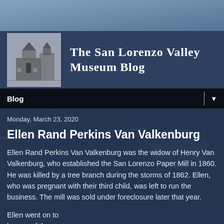[Figure (photo): Aerial/industrial historical photograph used as page background, tinted dark navy blue]
[Figure (photo): Small black and white historical photograph used as museum logo/thumbnail in the header]
The San Lorenzo Valley Museum Blog
Blog
Monday, March 23, 2020
Ellen Rand Perkins Van Valkenburg
Ellen Rand Perkins Van Valkenburg was the widow of Henry Van Valkenburg, who established the San Lorenzo Paper Mill in 1860. He was killed by a tree branch during the storms of 1862. Ellen, who was pregnant with their third child, was left to run the business. The mill was sold under foreclosure later that year.
Ellen went on to be one of the founders of a